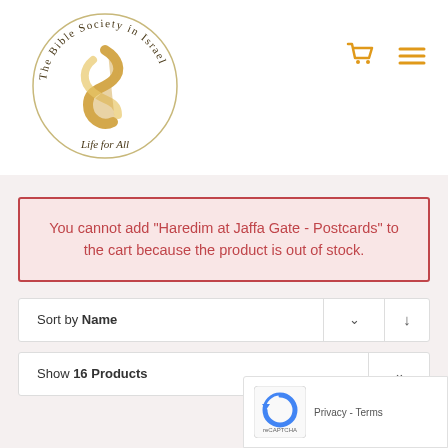[Figure (logo): The Bible Society in Israel circular logo with golden ribbon symbol and script text 'Life for All']
[Figure (other): Shopping cart icon and hamburger menu icon in orange/gold color]
You cannot add "Haredim at Jaffa Gate - Postcards" to the cart because the product is out of stock.
Sort by Name
Show 16 Products
Privacy & Cookies Policy